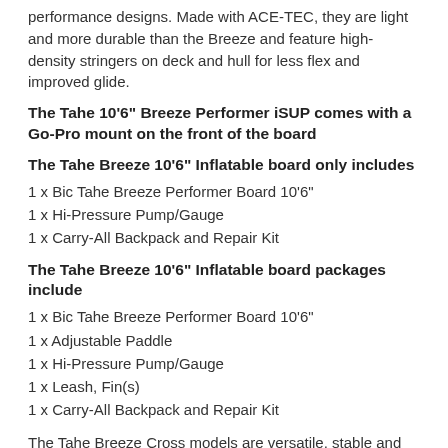performance designs. Made with ACE-TEC, they are light and more durable than the Breeze and feature high-density stringers on deck and hull for less flex and improved glide.
The Tahe 10'6" Breeze Performer iSUP comes with a Go-Pro mount on the front of the board
The Tahe Breeze 10'6" Inflatable board only includes
1 x Bic Tahe Breeze Performer Board 10'6"
1 x Hi-Pressure Pump/Gauge
1 x Carry-All Backpack and Repair Kit
The Tahe Breeze 10'6" Inflatable board packages include
1 x Bic Tahe Breeze Performer Board 10'6"
1 x Adjustable Paddle
1 x Hi-Pressure Pump/Gauge
1 x Leash, Fin(s)
1 x Carry-All Backpack and Repair Kit
The Tahe Breeze Cross models are versatile, stable and perfect for fitness, families, yoga, fishing, and just about any other SUP activity. A unique keeled nose shape helps them cut easily through choppy water.
The Tahe Breeze Performer models are authentic surf-inspired shapes for flat-water cruising where surfing waves are part of the